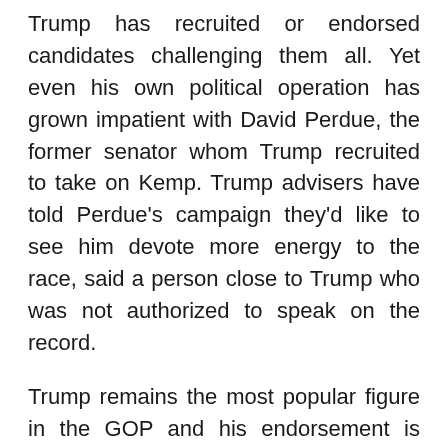Trump has recruited or endorsed candidates challenging them all. Yet even his own political operation has grown impatient with David Perdue, the former senator whom Trump recruited to take on Kemp. Trump advisers have told Perdue's campaign they'd like to see him devote more energy to the race, said a person close to Trump who was not authorized to speak on the record.
Trump remains the most popular figure in the GOP and his endorsement is campaign gold for Republican candidates. But his endorsements nationwide have triggered a